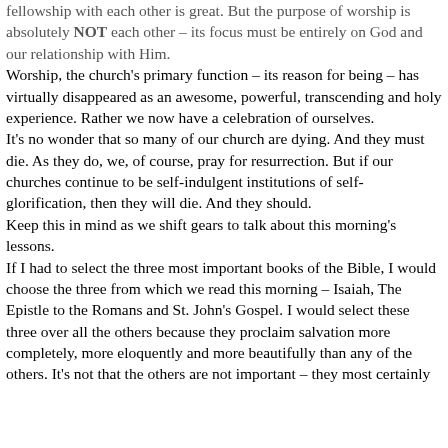fellowship with each other is great. But the purpose of worship is absolutely NOT each other – its focus must be entirely on God and our relationship with Him. Worship, the church's primary function – its reason for being – has virtually disappeared as an awesome, powerful, transcending and holy experience. Rather we now have a celebration of ourselves. It's no wonder that so many of our church are dying. And they must die. As they do, we, of course, pray for resurrection. But if our churches continue to be self-indulgent institutions of self-glorification, then they will die. And they should. Keep this in mind as we shift gears to talk about this morning's lessons. If I had to select the three most important books of the Bible, I would choose the three from which we read this morning – Isaiah, The Epistle to the Romans and St. John's Gospel. I would select these three over all the others because they proclaim salvation more completely, more eloquently and more beautifully than any of the others. It's not that the others are not important – they most certainly